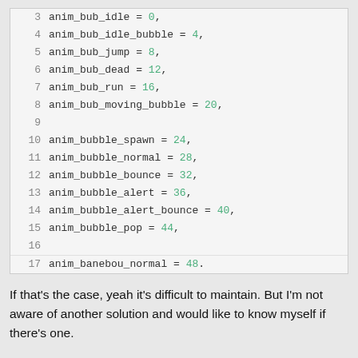[Figure (screenshot): Code editor screenshot showing lines 3-17 of source code defining animation enum values: anim_bub_idle=0, anim_bub_idle_bubble=4, anim_bub_jump=8, anim_bub_dead=12, anim_bub_run=16, anim_bub_moving_bubble=20, anim_bubble_spawn=24, anim_bubble_normal=28, anim_bubble_bounce=32, anim_bubble_alert=36, anim_bubble_alert_bounce=40, anim_bubble_pop=44, (blank line 16), anim_banebou_normal=48 (partial)]
If that's the case, yeah it's difficult to maintain. But I'm not aware of another solution and would like to know myself if there's one.